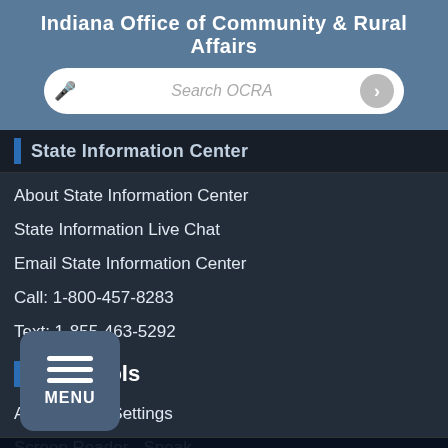Indiana Office of Community & Rural Affairs
Search OCRA
State Information Center
About State Information Center
State Information Live Chat
Email State Information Center
Call: 1-800-457-8283
Text: 1-855-463-5292
Web Tools
Accessibility Settings
Screen Reader - Speak
Report Accessibility Issues
Copyright © 2022 State of Indiana - All rights reserved.
Feedback Survey   Web Policies   Sitemap